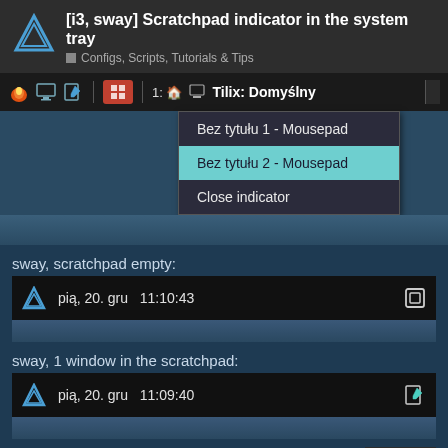[i3, sway] Scratchpad indicator in the system tray
Configs, Scripts, Tutorials & Tips
[Figure (screenshot): i3/sway bar screenshot showing system tray with icons, workspace button, and Tilix terminal window title. A context menu is open with items: 'Bez tytułu 1 - Mousepad', 'Bez tytułu 2 - Mousepad' (highlighted in teal), and 'Close indicator'.]
sway, scratchpad empty:
[Figure (screenshot): Sway bar screenshot showing Arch Linux logo, date/time 'piąt, 20. gru 11:10:43' and a square/window icon on the right. No scratchpad indicator shown.]
sway, 1 window in the scratchpad:
[Figure (screenshot): Sway bar screenshot showing Arch Linux logo, date/time 'piąt, 20. gru 11:09:40' and a pencil/edit icon on the right indicating 1 window in scratchpad.]
sway, more than 1 window in the s
1 / 4